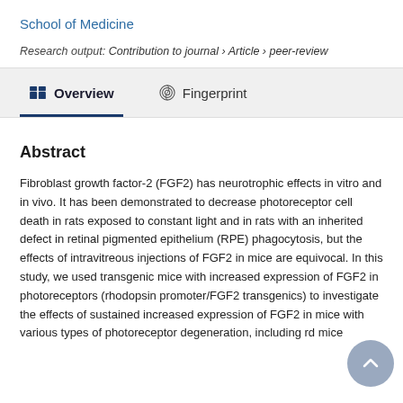School of Medicine
Research output: Contribution to journal › Article › peer-review
Overview
Fingerprint
Abstract
Fibroblast growth factor-2 (FGF2) has neurotrophic effects in vitro and in vivo. It has been demonstrated to decrease photoreceptor cell death in rats exposed to constant light and in rats with an inherited defect in retinal pigmented epithelium (RPE) phagocytosis, but the effects of intravitreous injections of FGF2 in mice are equivocal. In this study, we used transgenic mice with increased expression of FGF2 in photoreceptors (rhodopsin promoter/FGF2 transgenics) to investigate the effects of sustained increased expression of FGF2 in mice with various types of photoreceptor degeneration, including rd mice